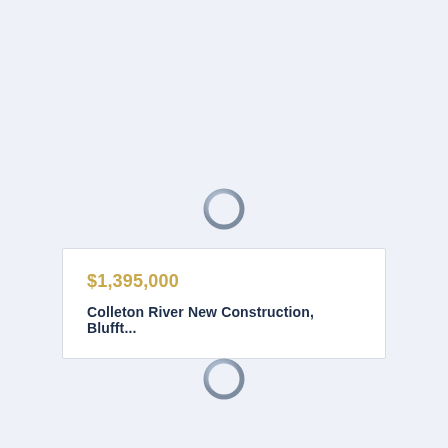[Figure (illustration): A circular ring icon with a gradient metallic appearance, top position]
$1,395,000
Colleton River New Construction, Blufft...
[Figure (illustration): A circular ring icon with a gradient metallic appearance, bottom position]